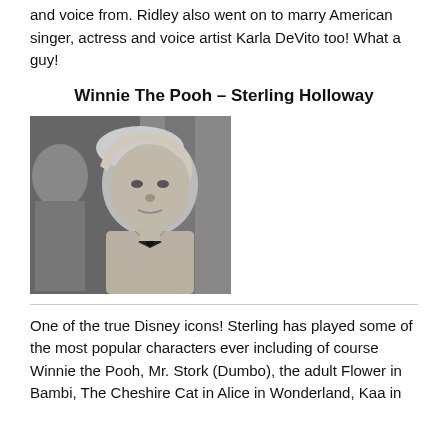and voice from. Ridley also went on to marry American singer, actress and voice artist Karla DeVito too! What a guy!
Winnie The Pooh – Sterling Holloway
[Figure (photo): Black and white photograph of Sterling Holloway, an older man with light wavy hair wearing a bow tie and light-colored shirt, looking at the camera. Another person is partially visible in the background.]
One of the true Disney icons! Sterling has played some of the most popular characters ever including of course Winnie the Pooh, Mr. Stork (Dumbo), the adult Flower in Bambi, The Cheshire Cat in Alice in Wonderland, Kaa in